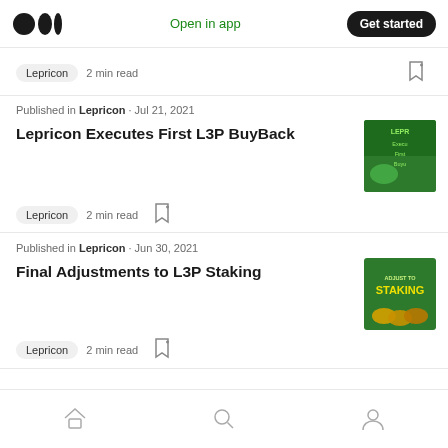Medium logo | Open in app | Get started
Lepricon · 2 min read
Published in Lepricon · Jul 21, 2021
Lepricon Executes First L3P BuyBack
Lepricon · 2 min read
Published in Lepricon · Jun 30, 2021
Final Adjustments to L3P Staking
Lepricon · 2 min read
Home | Search | Profile